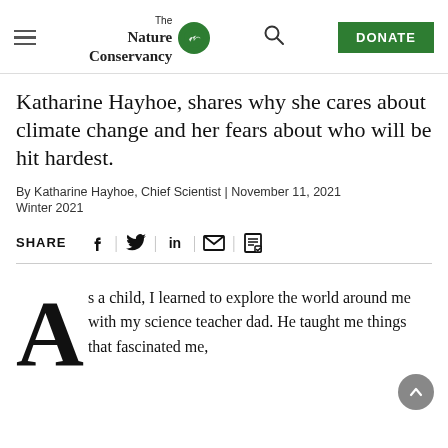The Nature Conservancy — DONATE
Katharine Hayhoe, shares why she cares about climate change and her fears about who will be hit hardest.
By Katharine Hayhoe, Chief Scientist | November 11, 2021
Winter 2021
SHARE [social icons: Facebook, Twitter, LinkedIn, Email, Print]
As a child, I learned to explore the world around me with my science teacher dad. He taught me things that fascinated me,